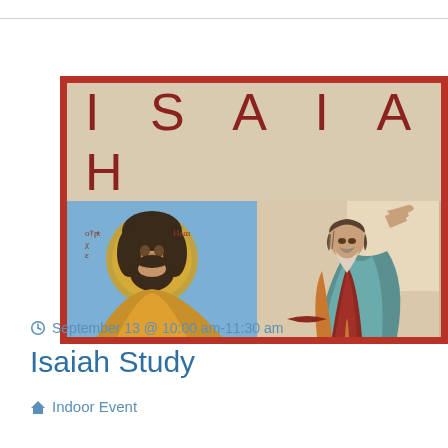[Figure (illustration): Isaiah study event banner image with 'ISAIAH' text in red on beige background above two religious paintings: a Byzantine-style icon of Isaiah with halo on the left, and a painting of a robed prophet with raised hand on the right. The whole image is framed with a dark red border.]
September 13 @ 10:00 am-11:30 am
Isaiah Study
Indoor Event